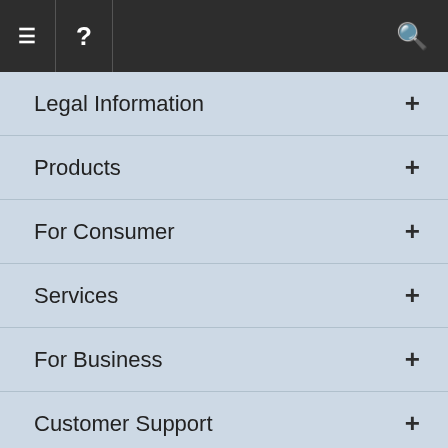≡ ? 🔍
Legal Information +
Products +
For Consumer +
Services +
For Business +
Customer Support +
Our Sites +
© Copyright 1997-2022
airSlate Legal Forms, Inc.
USlegal is a Registered Trademark

As seen in: